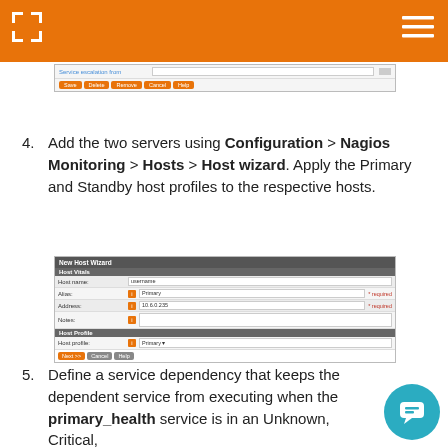[Figure (screenshot): Top partial screenshot of a form with Save, Delete, Remove, Cancel, Help buttons]
4. Add the two servers using Configuration > Nagios Monitoring > Hosts > Host wizard. Apply the Primary and Standby host profiles to the respective hosts.
[Figure (screenshot): New Host Wizard screenshot showing Host Vitals section with Host name, Alias (Primary), Address (10.6.0.235 * required), Notes fields, and Host Profile section with Host profile dropdown set to Primary, and Next, Cancel, Help buttons]
5. Define a service dependency that keeps the dependent service from executing when the primary_health service is in an Unknown, Critical,